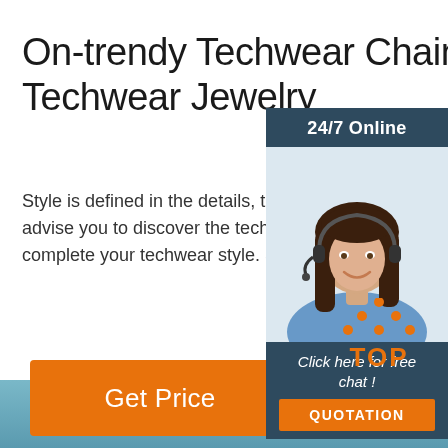On-trendy Techwear Chain, Techwear Jewelry
Style is defined in the details, that's why we advise you to discover the techwear jewelry to complete your techwear style. Shop now
[Figure (other): Orange 'Get Price' button]
[Figure (other): Right sidebar with '24/7 Online' header, woman with headset photo, 'Click here for free chat!' text, and orange QUOTATION button]
[Figure (logo): TOP logo with orange dots arranged in triangle and orange text 'TOP']